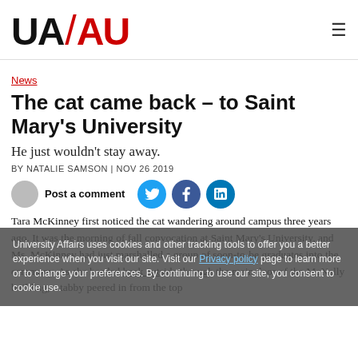UA/AU (University Affairs logo) with hamburger menu
News
The cat came back – to Saint Mary's University
He just wouldn't stay away.
BY NATALIE SAMSON | NOV 26 2019
Post a comment
Tara McKinney first noticed the cat wandering around campus three years ago. It was the morning of fall convocation at Saint Mary's University, and Ms. McKinney had just marshalled a group of soon-to-be graduates into the ceremony. As she headed back outside through the main door of the McNally building, a tabby peered in from the top
University Affairs uses cookies and other tracking tools to offer you a better experience when you visit our site. Visit our Privacy policy page to learn more or to change your preferences. By continuing to use our site, you consent to cookie use.